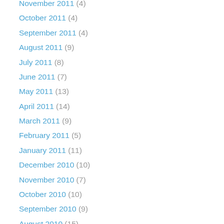November 2011 (4)
October 2011 (4)
September 2011 (4)
August 2011 (9)
July 2011 (8)
June 2011 (7)
May 2011 (13)
April 2011 (14)
March 2011 (9)
February 2011 (5)
January 2011 (11)
December 2010 (10)
November 2010 (7)
October 2010 (10)
September 2010 (9)
August 2010 (15)
July 2010 (13)
June 2010 (19)
May 2010 (23)
April 2010 (22)